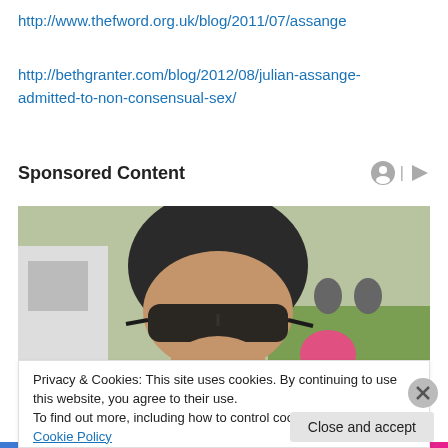http://www.thefword.org.uk/blog/2011/07/assange
http://bethgranter.com/blog/2012/08/julian-assange-admitted-to-non-consensual-sex/
Sponsored Content
[Figure (photo): Person wearing dark sunglasses and a dark cap, photographed close-up, with a pink object and a white vehicle visible in the background along with outdoor greenery.]
Privacy & Cookies: This site uses cookies. By continuing to use this website, you agree to their use.
To find out more, including how to control cookies, see here: Cookie Policy
Close and accept